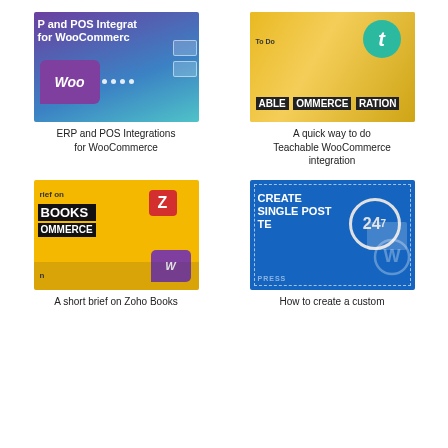[Figure (screenshot): Thumbnail for 'ERP and POS Integrations for WooCommerce' — purple/teal background with WooCommerce bubble icon and dotted connection lines]
ERP and POS Integrations for WooCommerce
[Figure (screenshot): Thumbnail for 'A quick way to do Teachable WooCommerce integration' — yellow background with teal Teachable logo circle and black text labels]
A quick way to do Teachable WooCommerce integration
[Figure (screenshot): Thumbnail for 'A short brief on Zoho Books WooCommerce' — yellow background with Zoho logo and bold black BOOKS / COMMERCE text labels]
A short brief on Zoho Books
[Figure (screenshot): Thumbnail for 'How to create a custom Single Post page in WordPress' — blue background with dashed border, CREATE SINGLE POST text, 24/7 circle logo, WordPress logo]
How to create a custom